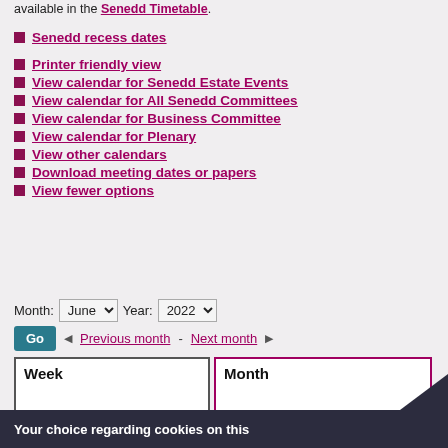available in the Senedd Timetable.
Senedd recess dates
Printer friendly view
View calendar for Senedd Estate Events
View calendar for All Senedd Committees
View calendar for Business Committee
View calendar for Plenary
View other calendars
Download meeting dates or papers
View fewer options
Month: June  Year: 2022
Go  Previous month - Next month
Week
Month
Your choice regarding cookies on this